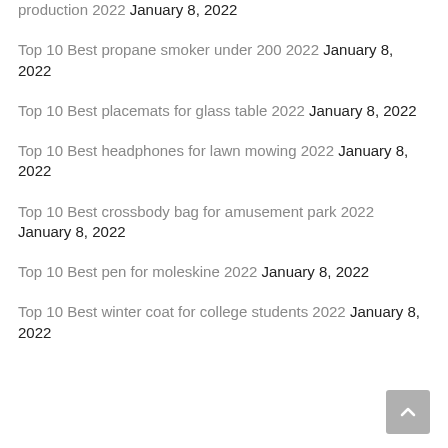production 2022 January 8, 2022
Top 10 Best propane smoker under 200 2022 January 8, 2022
Top 10 Best placemats for glass table 2022 January 8, 2022
Top 10 Best headphones for lawn mowing 2022 January 8, 2022
Top 10 Best crossbody bag for amusement park 2022 January 8, 2022
Top 10 Best pen for moleskine 2022 January 8, 2022
Top 10 Best winter coat for college students 2022 January 8, 2022